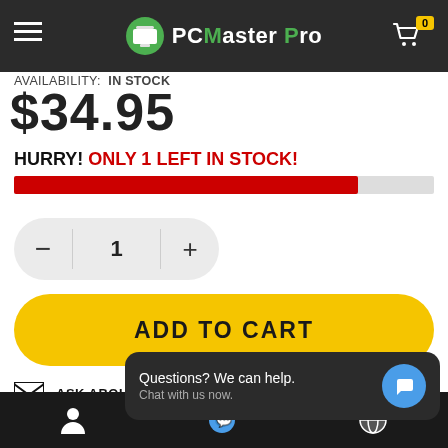PCMaster Pro
AVAILABILITY: IN STOCK
$34.95
HURRY! ONLY 1 LEFT IN STOCK!
1
ADD TO CART
ASK ABOUT THIS PRODUCT
[Figure (infographic): Social share buttons: Facebook, Twitter, Pinterest, Email, Share, LinkedIn]
Questions? We can help. Chat with us now.